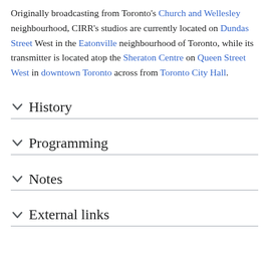Originally broadcasting from Toronto's Church and Wellesley neighbourhood, CIRR's studios are currently located on Dundas Street West in the Eatonville neighbourhood of Toronto, while its transmitter is located atop the Sheraton Centre on Queen Street West in downtown Toronto across from Toronto City Hall.
History
Programming
Notes
External links